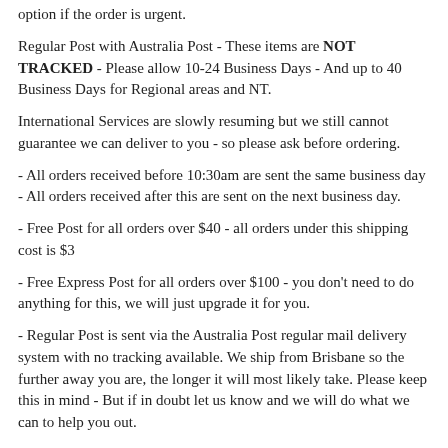option if the order is urgent.
Regular Post with Australia Post - These items are NOT TRACKED - Please allow 10-24 Business Days - And up to 40 Business Days for Regional areas and NT.
International Services are slowly resuming but we still cannot guarantee we can deliver to you - so please ask before ordering.
- All orders received before 10:30am are sent the same business day - All orders received after this are sent on the next business day.
- Free Post for all orders over $40 - all orders under this shipping cost is $3
- Free Express Post for all orders over $100 - you don't need to do anything for this, we will just upgrade it for you.
- Regular Post is sent via the Australia Post regular mail delivery system with no tracking available. We ship from Brisbane so the further away you are, the longer it will most likely take. Please keep this in mind - But if in doubt let us know and we will do what we can to help you out.
- Express Post $11 - 2-5 Business days to all major cities and most regional areas except NT and remote WA. Cannot deliver to P.O. Box Addresses or unit addresses.